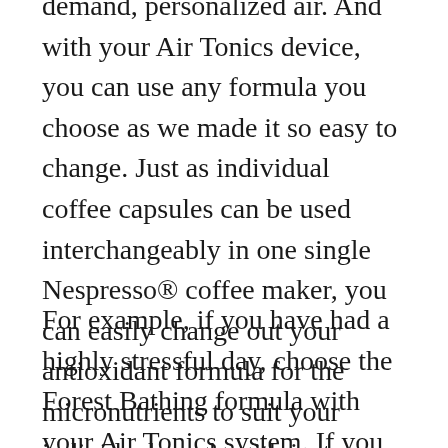demand, personalized air. And with your Air Tonics device, you can use any formula you choose as we made it so easy to change. Just as individual coffee capsules can be used interchangeably in one single Nespresso® coffee maker, you can easily change out your antioxidant formula for the micronutrients to suit your individual needs with just one Air Tonics device.
For example, if you have had a highly stressful day, choose the Forest Bathing formula with your Air Tonics system. If you are interested in smoother, easier breathing, choose the Salt Cave formula. Or, if you have been standing too long, ...